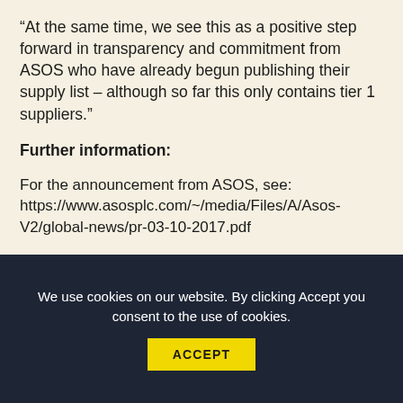“At the same time, we see this as a positive step forward in transparency and commitment from ASOS who have already begun publishing their supply list – although so far this only contains tier 1 suppliers.”
Further information:
For the announcement from ASOS, see: https://www.asosplc.com/~/media/Files/A/Asos-V2/global-news/pr-03-10-2017.pdf
For the IndustriaALL press release, see: http://www.industriall-union.org/industriall-signs-global-framework-agreement-with
We use cookies on our website. By clicking Accept you consent to the use of cookies.